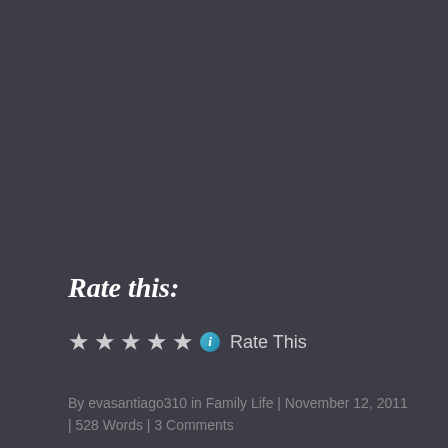Rate this:
★★★★★ ⓘ Rate This
By evasantiago310 in Family Life | November 12, 2011 | 528 Words | 3 Comments